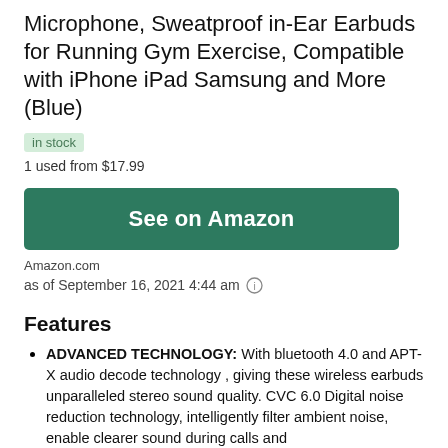Microphone, Sweatproof in-Ear Earbuds for Running Gym Exercise, Compatible with iPhone iPad Samsung and More (Blue)
in stock
1 used from $17.99
See on Amazon
Amazon.com
as of September 16, 2021 4:44 am
Features
ADVANCED TECHNOLOGY: With bluetooth 4.0 and APT-X audio decode technology , giving these wireless earbuds unparalleled stereo sound quality. CVC 6.0 Digital noise reduction technology, intelligently filter ambient noise, enable clearer sound during calls and